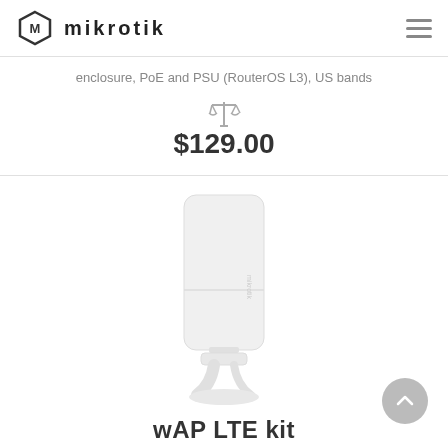mikrotik
enclosure, PoE and PSU (RouterOS L3), US bands
$129.00
[Figure (photo): MikroTik wAP LTE kit device - a white compact outdoor LTE access point unit standing on a small base, with the MikroTik logo on its side]
wAP LTE kit